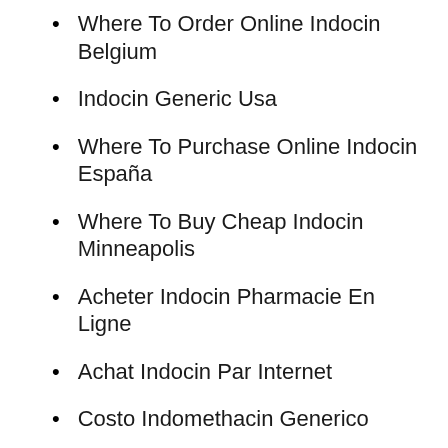Where To Order Online Indocin Belgium
Indocin Generic Usa
Where To Purchase Online Indocin España
Where To Buy Cheap Indocin Minneapolis
Acheter Indocin Pharmacie En Ligne
Achat Indocin Par Internet
Costo Indomethacin Generico
Beställ Online Indocin Sydney
They dont lay to many Engineering International Baccalaureate Program – make your own rusted